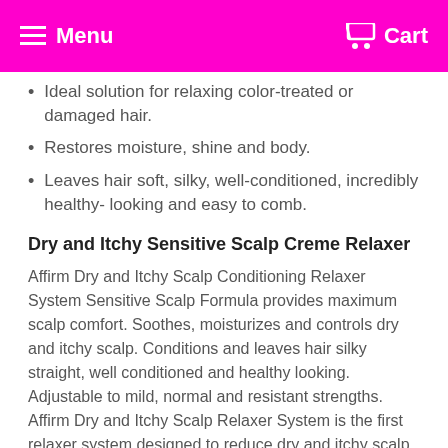Menu  Cart
Ideal solution for relaxing color-treated or damaged hair.
Restores moisture, shine and body.
Leaves hair soft, silky, well-conditioned, incredibly healthy- looking and easy to comb.
Dry and Itchy Sensitive Scalp Creme Relaxer
Affirm Dry and Itchy Scalp Conditioning Relaxer System Sensitive Scalp Formula provides maximum scalp comfort. Soothes, moisturizes and controls dry and itchy scalp. Conditions and leaves hair silky straight, well conditioned and healthy looking. Adjustable to mild, normal and resistant strengths. Affirm Dry and Itchy Scalp Relaxer System is the first relaxer system designed to reduce dry and itchy scalp conditions and visible dandruff even after initial use.